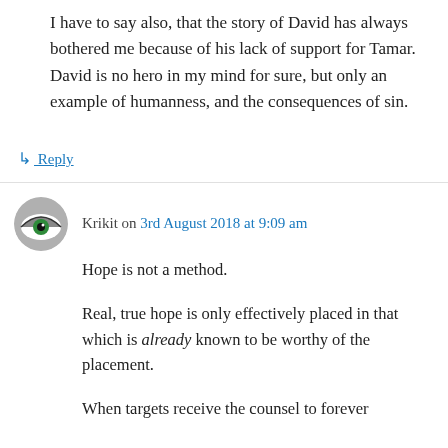I have to say also, that the story of David has always bothered me because of his lack of support for Tamar. David is no hero in my mind for sure, but only an example of humanness, and the consequences of sin.
↳ Reply
Krikit on 3rd August 2018 at 9:09 am
Hope is not a method.
Real, true hope is only effectively placed in that which is already known to be worthy of the placement.
When targets receive the counsel to forever